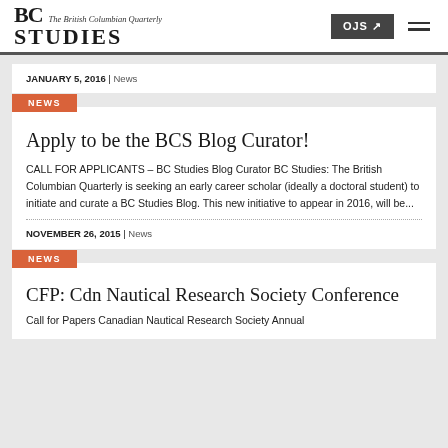BC STUDIES The British Columbian Quarterly | OJS
JANUARY 5, 2016 | News
NEWS
Apply to be the BCS Blog Curator!
CALL FOR APPLICANTS – BC Studies Blog Curator BC Studies: The British Columbian Quarterly is seeking an early career scholar (ideally a doctoral student) to initiate and curate a BC Studies Blog. This new initiative to appear in 2016, will be...
NOVEMBER 26, 2015 | News
NEWS
CFP: Cdn Nautical Research Society Conference
Call for Papers Canadian Nautical Research Society Annual